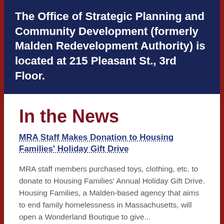The Office of Strategic Planning and Community Development (formerly Malden Redevelopment Authority) is located at 215 Pleasant St., 3rd Floor.
In the News
MRA Staff Makes Donation to Housing Families' Holiday Gift Drive
MRA staff members purchased toys, clothing, etc. to donate to Housing Families' Annual Holiday Gift Drive. Housing Families, a Malden-based agency that aims to end family homelessness in Massachusetts, will open a Wonderland Boutique to give...
Read More
Holiday Decorations at CBD Garage Pedestrian